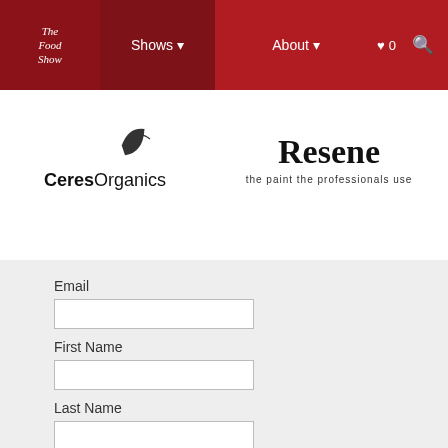The Food Show navigation bar with Shows, About, heart/wishlist, and search icons
[Figure (logo): Ceres Organics logo with leaf icon]
[Figure (logo): Resene logo with tagline: the paint the professionals use]
Email
First Name
Last Name
Show
Christchurch
Wellington
Auckland